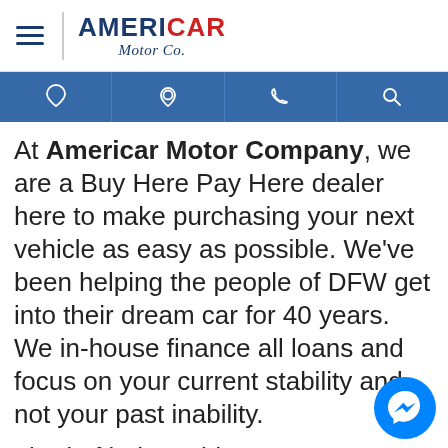[Figure (logo): Americar Motor Co. logo with hamburger menu icon on left and stylized text AMERICAR Motor Co. on right]
[Figure (infographic): Blue navigation bar with four icons: heart/wishlist, location pin, phone, and search]
At Americar Motor Company, we are a Buy Here Pay Here dealer here to make purchasing your next vehicle as easy as possible. We've  been helping the people of DFW get into their dream car for 40 years. We in-house finance all loans and focus on your current stability and not your past inability.
Tired of being told: